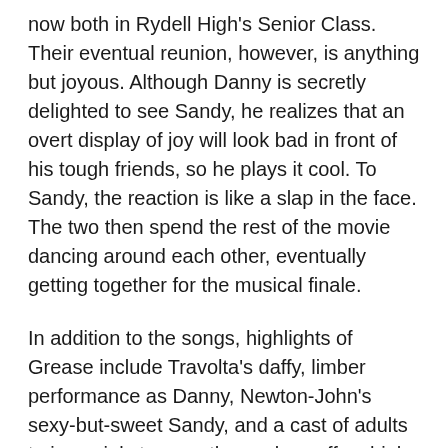now both in Rydell High's Senior Class. Their eventual reunion, however, is anything but joyous. Although Danny is secretly delighted to see Sandy, he realizes that an overt display of joy will look bad in front of his tough friends, so he plays it cool. To Sandy, the reaction is like a slap in the face. The two then spend the rest of the movie dancing around each other, eventually getting together for the musical finale.
In addition to the songs, highlights of Grease include Travolta's daffy, limber performance as Danny, Newton-John's sexy-but-sweet Sandy, and a cast of adults trying vainly to pass themselves off as high-schoolers. Despite all of the silliness and singing, the exuberance of youth lies at the core of Grease, and, although everything is greatly exaggerated here, the film brings back memories of what it was like to hang out in the school yard, take a date to a drive-in movie, and attend a prom.